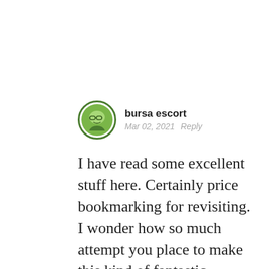bursa escort
Mar 02, 2021   Reply
I have read some excellent stuff here. Certainly price bookmarking for revisiting. I wonder how so much attempt you place to make this kind of fantastic informative site.| Salome Jedediah Nelia